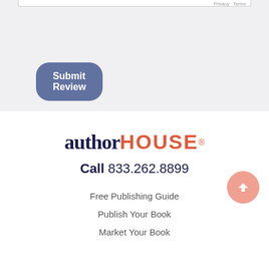[Figure (screenshot): Top portion of a web form with Privacy and Terms links visible, on a light gray background]
Submit Review
[Figure (logo): AuthorHouse logo with 'author' in dark navy serif font and 'HOUSE' in red sans-serif uppercase letters with registered trademark symbol]
Call 833.262.8899
Free Publishing Guide
Publish Your Book
Market Your Book